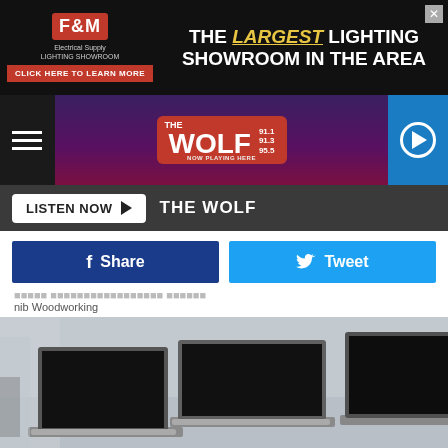[Figure (photo): F&M Electrical Supply Lighting Showroom advertisement banner: 'THE LARGEST LIGHTING SHOWROOM IN THE AREA' with red logo and click here button]
[Figure (logo): The Wolf radio station header bar with hamburger menu, The Wolf 91.1 91.3 95.5 logo, and blue play button]
[Figure (screenshot): 'LISTEN NOW' button with play arrow, followed by 'THE WOLF' text on dark bar]
[Figure (screenshot): Facebook Share button (dark blue) and Twitter Tweet button (light blue)]
nib Woodworking
[Figure (photo): Photograph of multiple laptop computers open on a table in a store/office setting, with blurred background showing shelves with devices]